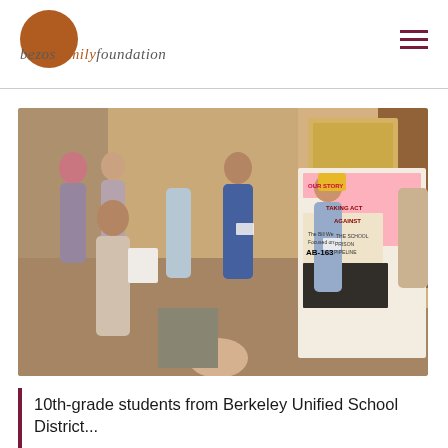bezos family foundation
[Figure (photo): Group of 10th-grade students gathered around a presentation board titled 'Taking Action Against the School to Prison Pipeline' with 'AB-163' visible, in an indoor event setting. A student in a yellow cap and blue shirt is presenting.]
10th-grade students from Berkeley Unified School District...